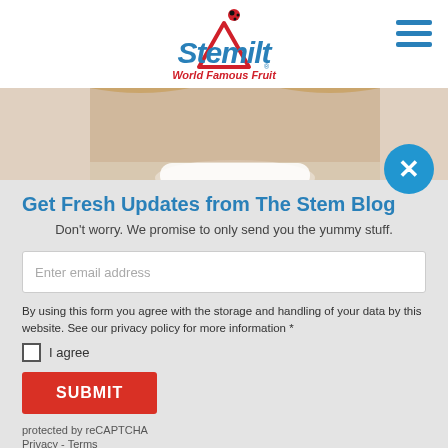[Figure (logo): Stemilt World Famous Fruit logo with ladybug and mountain shape]
[Figure (photo): Partial photo of smiling woman with blonde hair]
Get Fresh Updates from The Stem Blog
Don't worry. We promise to only send you the yummy stuff.
Enter email address
By using this form you agree with the storage and handling of your data by this website. See our privacy policy for more information *
I agree
SUBMIT
protected by reCAPTCHA
Privacy - Terms